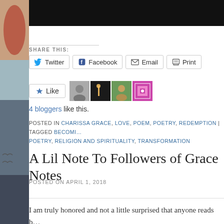[Figure (photo): Top dark/black image bar at top of page]
SHARE THIS:
[Figure (other): Share buttons: Twitter, Facebook, Email, Print]
[Figure (other): Like button with 4 blogger avatars]
4 bloggers like this.
POSTED IN CHARISSA GRACE, LOVE, POEM, POETRY, REDEMPTION | TAGGED BECOMI... POETRY, RELIGION AND SPIRITUALITY, TRANSFORMATION
A Lil Note To Followers of Grace Notes
POSTED ON APRIL 1, 2018
I am truly honored and not a little surprised that anyone reads b...